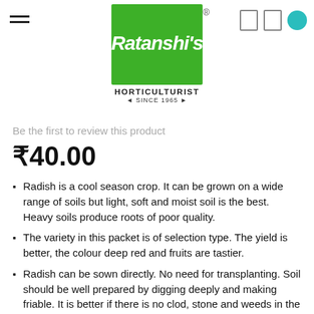[Figure (logo): Ratanshi's Horticulturist logo — green square with white cursive text 'Ratanshi's', subtitle 'HORTICULTURIST', and '* SINCE 1965 *']
Be the first to review this product
₹40.00
Radish is a cool season crop. It can be grown on a wide range of soils but light, soft and moist soil is the best. Heavy soils produce roots of poor quality.
The variety in this packet is of selection type. The yield is better, the colour deep red and fruits are tastier.
Radish can be sown directly. No need for transplanting. Soil should be well prepared by digging deeply and making friable. It is better if there is no clod, stone and weeds in the soil. The spacing should be 10-15 cm between plants and 30 cm